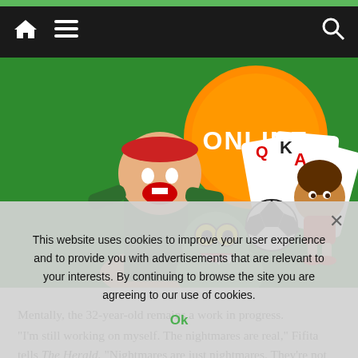Navigation bar with home, menu, and search icons
[Figure (illustration): Colorful online games promotional image showing an anime-style character, a cartoon monster, playing cards (Q, K, A), a soccer ball, a chibi soccer player character, and an orange circular badge with 'ONLINE' text on a green background.]
Mentally, the 32-year-old remains a work in progress.
“I’m still working on myself. The nightmares are real,” Fifita tells The Herald. “Nightmares are just nightmares. They’re not about injuries or anything like that and it’s not recurring (themes), but they’re about
working on. Everyone has dreams. The average Joe dreams at night and for me since my trauma, it’s been more nightmares than normal dreams. In a month, but
This website uses cookies to improve your user experience and to provide you with advertisements that are relevant to your interests. By continuing to browse the site you are agreeing to our use of cookies.